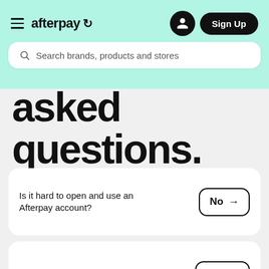afterpay — Sign Up
Search brands, products and stores
asked questions.
Is it hard to open and use an Afterpay account? No →
Is Afterpay really interest-free? Yes →